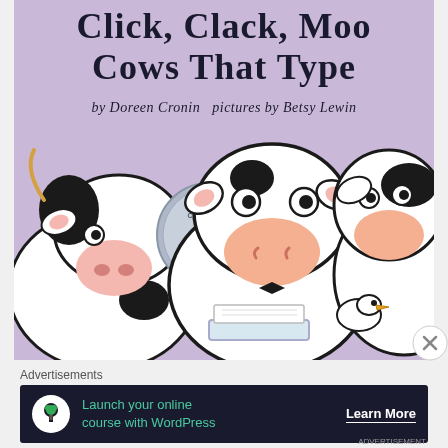[Figure (illustration): Book cover of 'Click, Clack, Moo: Cows That Type' by Doreen Cronin, pictures by Betsy Lewin. Shows illustrated cows with black and white markings on a lavender/purple background. A Caldecott Honor medal is visible on the left side. The cows are depicted in a cartoon style looking at a typewriter.]
Advertisements
Launch your online course with WordPress  Learn More